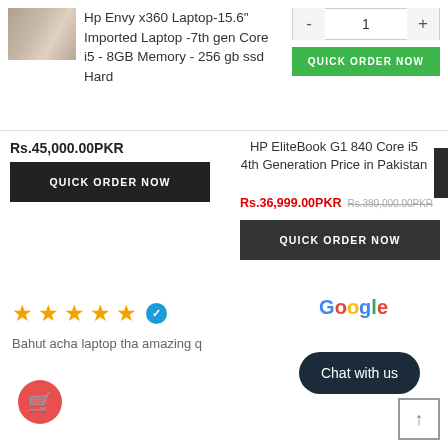[Figure (photo): Product thumbnail of HP laptop, silver/grey tones]
Hp Envy x360 Laptop-15.6" Imported Laptop -7th gen Core i5 - 8GB Memory - 256 gb ssd Hard
- 1 +
QUICK ORDER NOW
Rs.45,000.00PKR
HP EliteBook G1 840 Core i5 4th Generation Price in Pakistan
QUICK ORDER NOW
Rs.36,999.00PKR Rs.380,000.00PKR
QUICK ORDER NOW
★★★★★
Bahut acha laptop tha amazing q
Chat with us